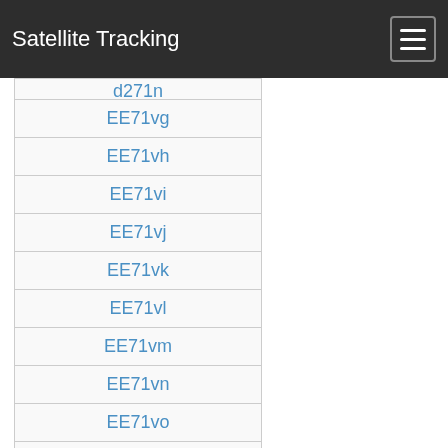Satellite Tracking
d271n
EE71vg
EE71vh
EE71vi
EE71vj
EE71vk
EE71vl
EE71vm
EE71vn
EE71vo
EE71vp
EE71vq
EE71vr
EE71vs
EE71vt
EE71vu
EE71vv
EE71vw